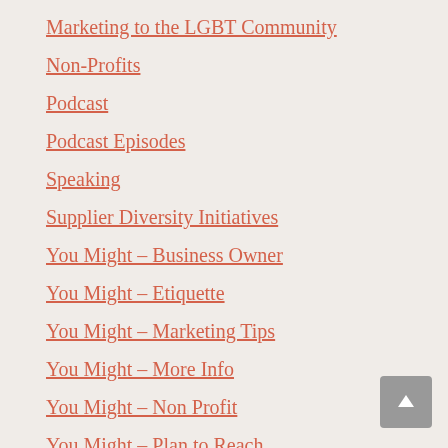Marketing to the LGBT Community
Non-Profits
Podcast
Podcast Episodes
Speaking
Supplier Diversity Initiatives
You Might – Business Owner
You Might – Etiquette
You Might – Marketing Tips
You Might – More Info
You Might – Non Profit
You Might – Plan to Reach
You Might – Plan to Reach 2